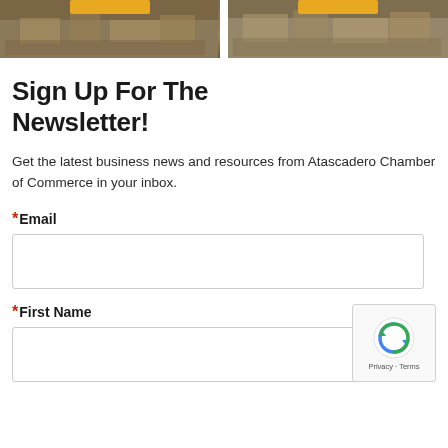[Figure (photo): Two aerial/overhead photographs of what appears to be Atascadero, shown side by side at the top of the page, each with a gold/yellow button overlay at the top center]
Sign Up For The Newsletter!
Get the latest business news and resources from Atascadero Chamber of Commerce in your inbox.
*Email
*First Name